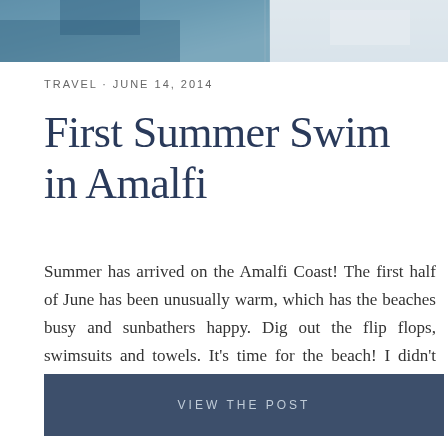[Figure (photo): Partial view of a boat and coastal scene, cropped at the top of the page]
TRAVEL · JUNE 14, 2014
First Summer Swim in Amalfi
Summer has arrived on the Amalfi Coast! The first half of June has been unusually warm, which has the beaches busy and sunbathers happy. Dig out the flip flops, swimsuits and towels. It's time for the beach! I didn't make it to the beach until last weekend, a tad behind many of the locals and a lot ...
VIEW THE POST